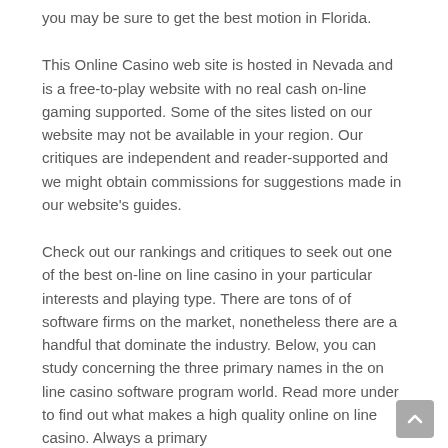you may be sure to get the best motion in Florida.
This Online Casino web site is hosted in Nevada and is a free-to-play website with no real cash on-line gaming supported. Some of the sites listed on our website may not be available in your region. Our critiques are independent and reader-supported and we might obtain commissions for suggestions made in our website's guides.
Check out our rankings and critiques to seek out one of the best on-line on line casino in your particular interests and playing type. There are tons of of software firms on the market, nonetheless there are a handful that dominate the industry. Below, you can study concerning the three primary names in the on line casino software program world. Read more under to find out what makes a high quality online on line casino. Always a primary